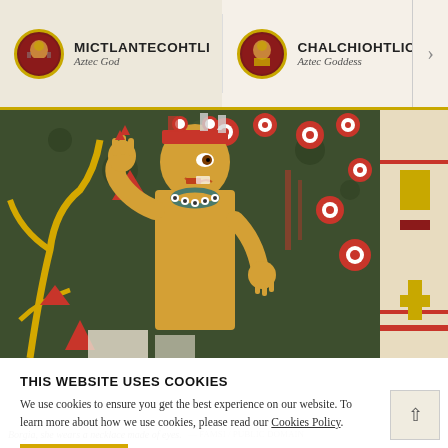MICTLANTECOHTLI — Aztec God | CHALCHIOHTLICOE — Aztec Goddess
[Figure (illustration): Aztec codex illustration showing a figure with yellow skin, red headdress, wearing jewelry, surrounded by red circular motifs and floral symbols on a dark green background. Likely from the Codex Borgia.]
THIS WEBSITE USES COOKIES
We use cookies to ensure you get the best experience on our website. To learn more about how we use cookies, please read our Cookies Policy.
Borgia, she wears a necklace made of eyes. — FAMSI / PUBLIC DOMAIN